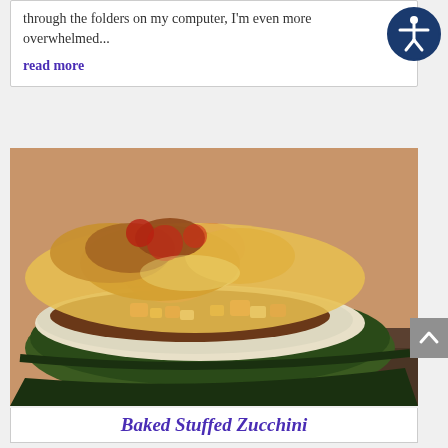through the folders on my computer, I'm even more overwhelmed...
read more
[Figure (photo): Baked stuffed zucchini - a large zucchini halved and filled with meat, vegetables and melted cheese, baked until golden brown]
Baked Stuffed Zucchini